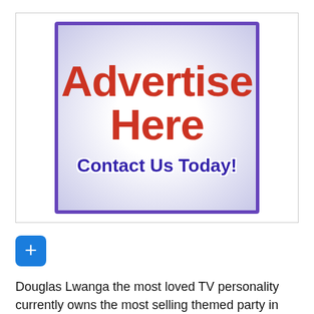[Figure (illustration): Advertisement placeholder banner with purple border and gradient background. Large red bold text reads 'Advertise Here' with purple bold text below reading 'Contact Us Today!']
[Figure (other): Blue rounded square button with a white plus (+) sign in the center]
Douglas Lwanga the most loved TV personality currently owns the most selling themed party in